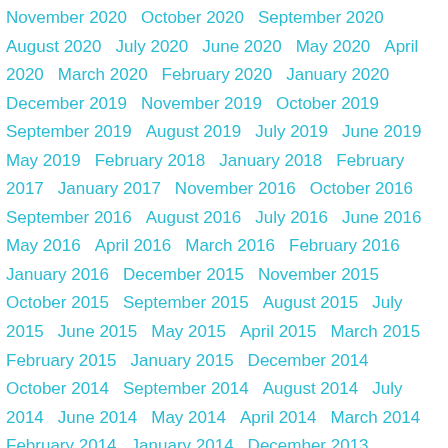November 2020   October 2020   September 2020   August 2020   July 2020   June 2020   May 2020   April 2020   March 2020   February 2020   January 2020   December 2019   November 2019   October 2019   September 2019   August 2019   July 2019   June 2019   May 2019   February 2018   January 2018   February 2017   January 2017   November 2016   October 2016   September 2016   August 2016   July 2016   June 2016   May 2016   April 2016   March 2016   February 2016   January 2016   December 2015   November 2015   October 2015   September 2015   August 2015   July 2015   June 2015   May 2015   April 2015   March 2015   February 2015   January 2015   December 2014   October 2014   September 2014   August 2014   July 2014   June 2014   May 2014   April 2014   March 2014   February 2014   January 2014   December 2013   November 2013   October 2013   September 2013   July 2013   June 2013   May 2013   April 2013   March 2013   February 2013   January 2013   December 2012